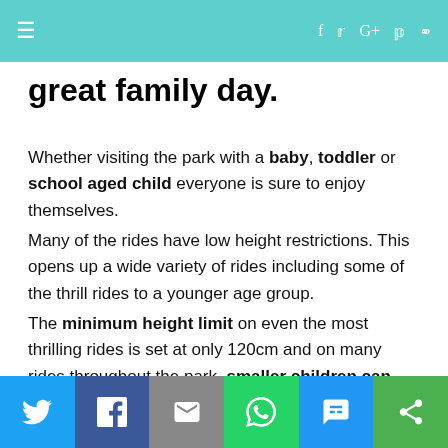≡  f  t  G+  p  🔍
great family day.
Whether visiting the park with a baby, toddler or school aged child everyone is sure to enjoy themselves.
Many of the rides have low height restrictions. This opens up a wide variety of rides including some of the thrill rides to a younger age group.
The minimum height limit on even the most thrilling rides is set at only 120cm and on many rides throughout the park, smaller children can join if accompanied by an adult.
There is even a family roller coaster that can be ridden as young as 1 year old! Use your own discretion to decide
Share buttons: Twitter, Facebook, Email, WhatsApp, SMS, More